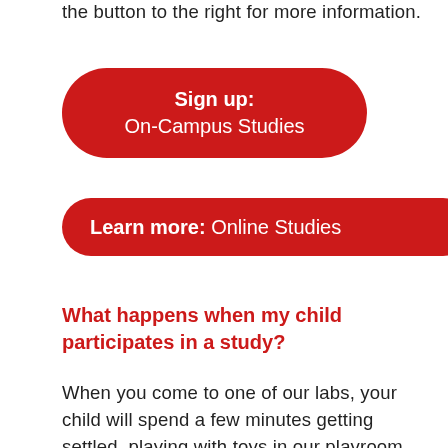the button to the right for more information.
Sign up: On-Campus Studies
Learn more: Online Studies
What happens when my child participates in a study?
When you come to one of our labs, your child will spend a few minutes getting settled, playing with toys in our playroom, and meeting the lab member who will run the study. We'll tell you a little bit about the